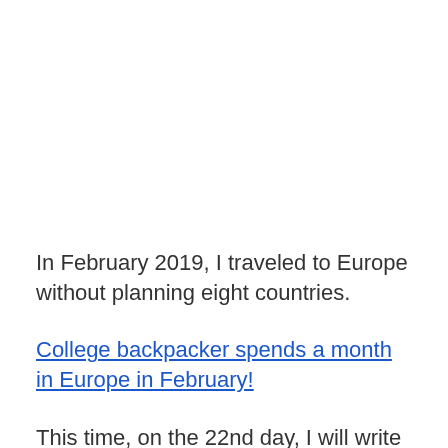In February 2019, I traveled to Europe without planning eight countries.
College backpacker spends a month in Europe in February!
This time, on the 22nd day, I will write about the situation in Barcelona, Spain!